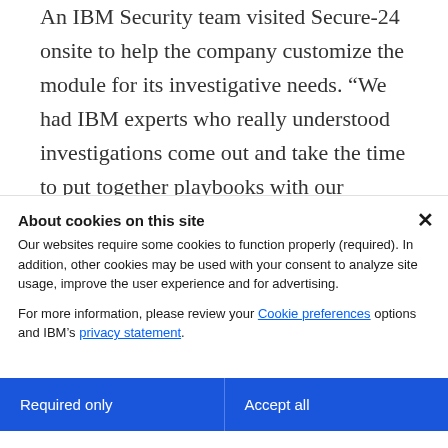An IBM Security team visited Secure-24 onsite to help the company customize the module for its investigative needs. “We had IBM experts who really understood investigations come out and take the time to put together playbooks with our investigators,” says Herr. “From there it went viral — every single investigator wanted to participate in this new program of Resilient dynamic
About cookies on this site
Our websites require some cookies to function properly (required). In addition, other cookies may be used with your consent to analyze site usage, improve the user experience and for advertising.
For more information, please review your Cookie preferences options and IBM’s privacy statement.
Required only
Accept all